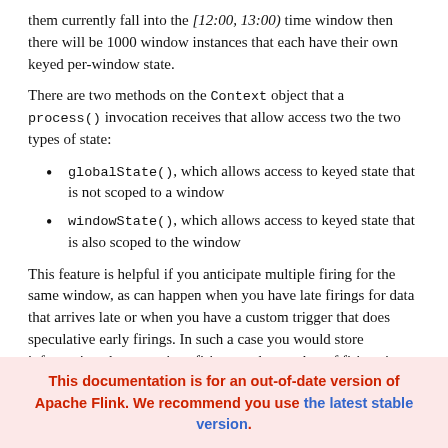them currently fall into the [12:00, 13:00) time window then there will be 1000 window instances that each have their own keyed per-window state.
There are two methods on the Context object that a process() invocation receives that allow access two the two types of state:
globalState(), which allows access to keyed state that is not scoped to a window
windowState(), which allows access to keyed state that is also scoped to the window
This feature is helpful if you anticipate multiple firing for the same window, as can happen when you have late firings for data that arrives late or when you have a custom trigger that does speculative early firings. In such a case you would store information about previous firings or the number of firings in per-window state.
When using windowed state it is important to also clean up that
This documentation is for an out-of-date version of Apache Flink. We recommend you use the latest stable version.